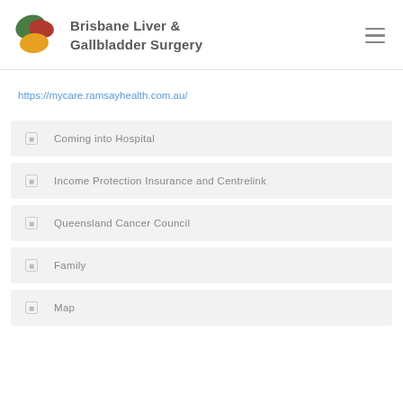Brisbane Liver & Gallbladder Surgery
https://mycare.ramsayhealth.com.au/
Coming into Hospital
Income Protection Insurance and Centrelink
Queensland Cancer Council
Family
Map